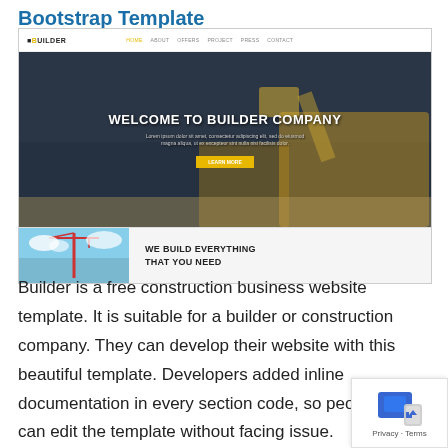Bootstrap Template
[Figure (screenshot): Screenshot of a construction company website template called 'Builder'. Shows a navigation bar at top, a hero section with dark overlay and construction equipment image with text 'WELCOME TO BUILDER COMPANY' and yellow button, and a secondary section with image and text 'WE BUILD EVERYTHING THAT YOU NEED']
Builder is a free construction business website template. It is suitable for a builder or construction company. They can develop their website with this beautiful template. Developers added inline documentation in every section code, so people can edit the template without facing issue.